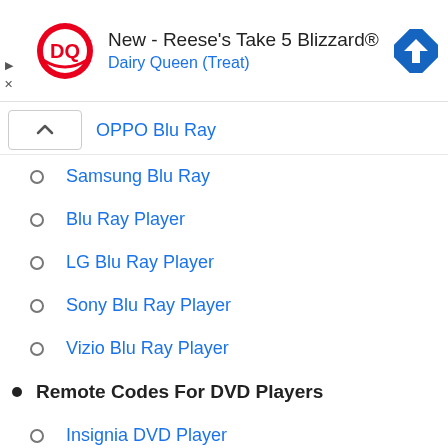[Figure (advertisement): Dairy Queen ad banner: DQ logo, text 'New - Reese's Take 5 Blizzard® / Dairy Queen (Treat)', navigation/map icon on right]
OPPO Blu Ray
Samsung Blu Ray
Blu Ray Player
LG Blu Ray Player
Sony Blu Ray Player
Vizio Blu Ray Player
Remote Codes For DVD Players
Insignia DVD Player
RCA DVD Player